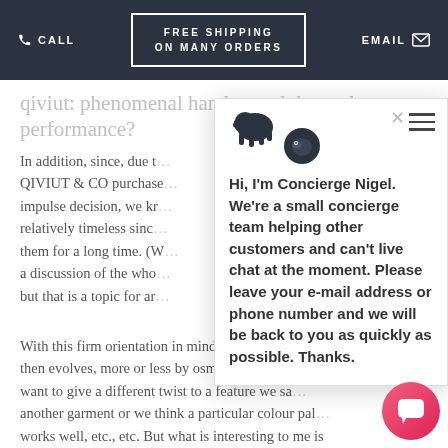CALL   FREE SHIPPING ON MANY ORDERS   EMAIL
qiviut: phenomenal hand and thermal performance?
In addition, since, due t... QIVIUT & CO purchase... impulse decision, we kn... relatively timeless sinc... them for a long time. (W... a discussion of the who... but that is a topic for ar...
[Figure (screenshot): Chat popup with bison logo avatars. Text: Hi, I'm Concierge Nigel. We're a small concierge team helping other customers and can't live chat at the moment. Please leave your e-mail address or phone number and we will be back to you as quickly as possible. Thanks.]
With this firm orientation in mind, the design process then evolves, more or less by osmosis in our case... want to give a different twist to a feature we saw... another garment or we think a particular colour palette works well, etc., etc. But what is interesting to me is